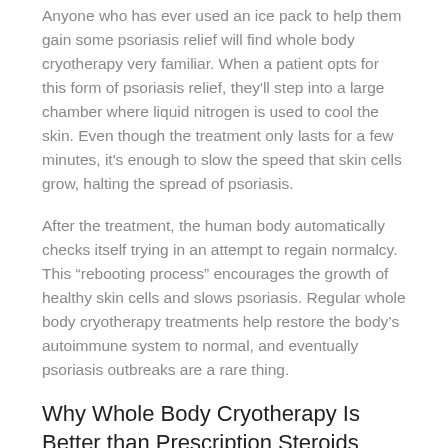Anyone who has ever used an ice pack to help them gain some psoriasis relief will find whole body cryotherapy very familiar. When a patient opts for this form of psoriasis relief, they'll step into a large chamber where liquid nitrogen is used to cool the skin. Even though the treatment only lasts for a few minutes, it's enough to slow the speed that skin cells grow, halting the spread of psoriasis.
After the treatment, the human body automatically checks itself trying in an attempt to regain normalcy. This “rebooting process” encourages the growth of healthy skin cells and slows psoriasis. Regular whole body cryotherapy treatments help restore the body's autoimmune system to normal, and eventually psoriasis outbreaks are a rare thing.
Why Whole Body Cryotherapy Is Better than Prescription Steroids
The fact that patients get psoriasis relief from the